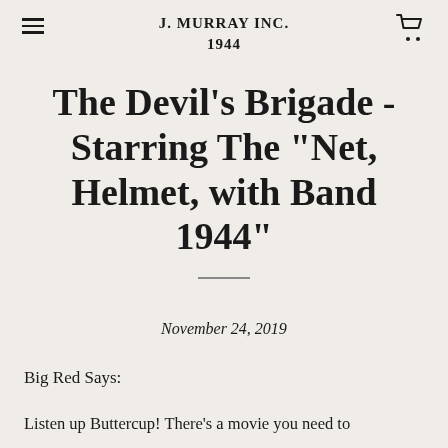J. MURRAY INC. 1944
The Devil's Brigade - Starring The "Net, Helmet, with Band 1944"
November 24, 2019
Big Red Says:
Listen up Buttercup! There's a movie you need to